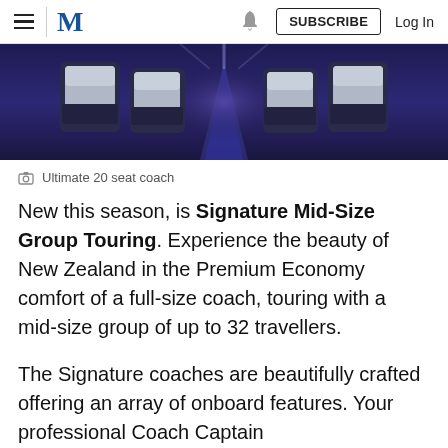M  SUBSCRIBE  Log In
[Figure (photo): Interior of a luxury coach showing premium seats with blue and grey upholstery arranged in rows, viewed from a centre aisle perspective.]
Ultimate 20 seat coach
New this season, is Signature Mid-Size Group Touring. Experience the beauty of New Zealand in the Premium Economy comfort of a full-size coach, touring with a mid-size group of up to 32 travellers.
The Signature coaches are beautifully crafted offering an array of onboard features. Your professional Coach Captain